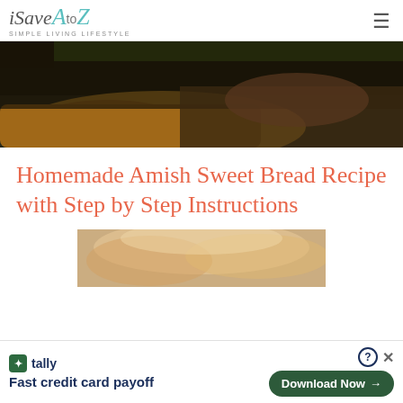iSaveAtoZ — SIMPLE LIVING LIFESTYLE
[Figure (photo): Close-up photo of homemade bread with dark crust and greenery in the background]
Homemade Amish Sweet Bread Recipe with Step by Step Instructions
[Figure (photo): Photo of a person with blonde hair, partially visible, related to bread recipe]
Tally — Fast credit card payoff — Download Now →